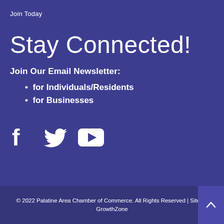Join Today
Stay Connected!
Join Our Email Newsletter:
for Individuals/Residents
for Businesses
[Figure (other): Social media icons: Facebook, Twitter, YouTube]
© 2022 Palatine Area Chamber of Commerce.  All Rights Reserved | Site by GrowthZone